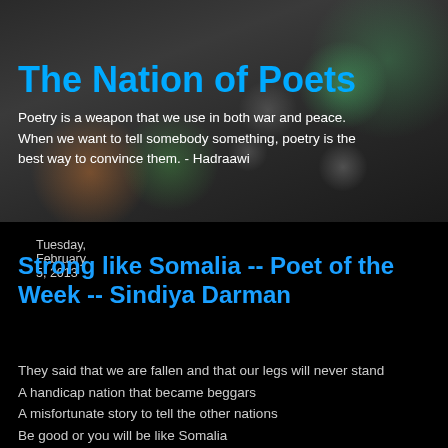The Nation of Poets
Poetry is a weapon that we use in both war and peace. When we want to tell somebody something, poetry is the best way to convince them. - Hadraawi
Tuesday, February 5, 2013
Strong like Somalia -- Poet of the Week -- Sindiya Darman
They said that we are fallen and that our legs will never stand
A handicap nation that became beggars
A misfortunate story to tell the other nations
Be good or you will be like Somalia
Never be like Somalia